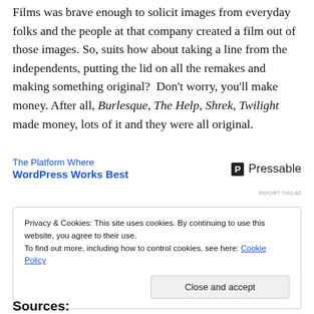Films was brave enough to solicit images from everyday folks and the people at that company created a film out of those images. So, suits how about taking a line from the independents, putting the lid on all the remakes and making something original?  Don't worry, you'll make money. After all, Burlesque, The Help, Shrek, Twilight made money, lots of it and they were all original.
[Figure (other): Advertisement banner: 'The Platform Where WordPress Works Best' with Pressable logo]
Privacy & Cookies: This site uses cookies. By continuing to use this website, you agree to their use. To find out more, including how to control cookies, see here: Cookie Policy
Close and accept
Sources: